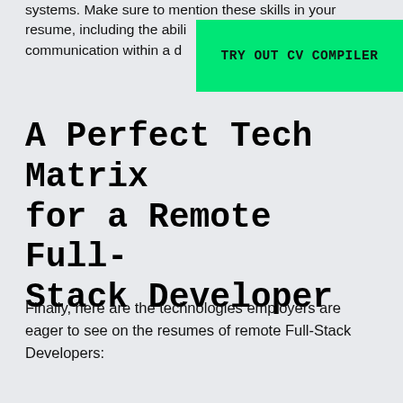systems. Make sure to mention these skills in your resume, including the abili… communication within a d…
[Figure (other): Green banner button with text TRY OUT CV COMPILER]
A Perfect Tech Matrix for a Remote Full-Stack Developer
Finally, here are the technologies employers are eager to see on the resumes of remote Full-Stack Developers: